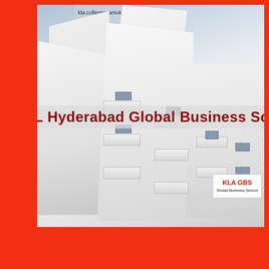kla.collegepramukh.in
[Figure (photo): Exterior photo of KL Hyderabad Global Business School building — a modern multi-storey white structure with geometric balconies and angular facade, photographed from below at an upward angle. A red banner reading 'L Hyderabad Global Business School' is overlaid across the middle of the building. A small KLA GBS logo sign is visible at the bottom right of the building.]
L Hyderabad Global Business Schoo